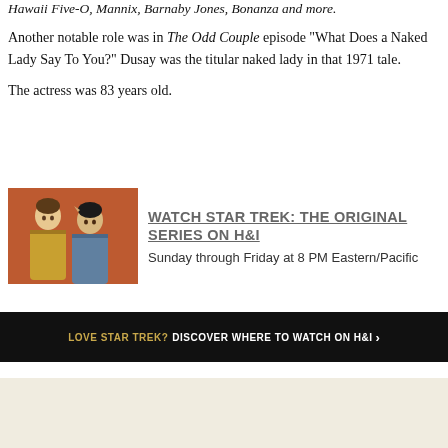Hawaii Five-O, Mannix, Barnaby Jones, Bonanza and more.
Another notable role was in The Odd Couple episode "What Does a Naked Lady Say To You?" Dusay was the titular naked lady in that 1971 tale.
The actress was 83 years old.
[Figure (photo): Photo of two Star Trek actors (Kirk and Spock) in their Starfleet uniforms against a patterned background]
WATCH STAR TREK: THE ORIGINAL SERIES ON H&I
Sunday through Friday at 8 PM Eastern/Pacific
LOVE STAR TREK? DISCOVER WHERE TO WATCH ON H&I ›